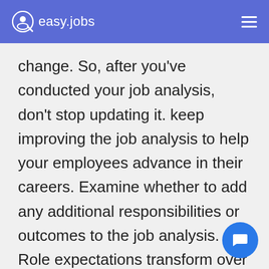easy.jobs
change. So, after you've conducted your job analysis, don't stop updating it. keep improving the job analysis to help your employees advance in their careers. Examine whether to add any additional responsibilities or outcomes to the job analysis. Role expectations transform over time. Keeping updates about your competitor's job descriptions, considering employees' remarks and maintaining you...